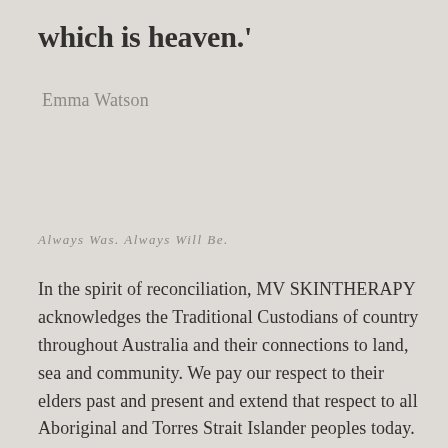which is heaven.'
Emma Watson
Always Was. Always Will Be.
In the spirit of reconciliation, MV SKINTHERAPY acknowledges the Traditional Custodians of country throughout Australia and their connections to land, sea and community. We pay our respect to their elders past and present and extend that respect to all Aboriginal and Torres Strait Islander peoples today.